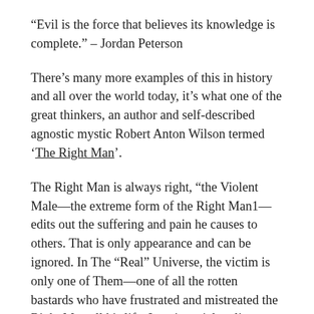“Evil is the force that believes its knowledge is complete.” – Jordan Peterson
There’s many more examples of this in history and all over the world today, it’s what one of the great thinkers, an author and self-described agnostic mystic Robert Anton Wilson termed ‘The Right Man’.
The Right Man is always right, “the Violent Male—the extreme form of the Right Man1—edits out the suffering and pain he causes to others. That is only appearance and can be ignored. In The “Real” Universe, the victim is only one of Them—one of all the rotten bastards who have frustrated and mistreated the Right Man all his life. In existential reality, a large brutal male is beating a child; in The